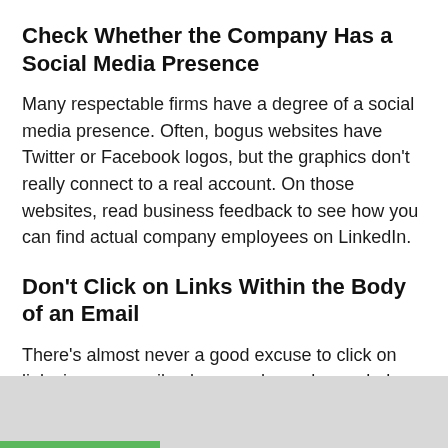Check Whether the Company Has a Social Media Presence
Many respectable firms have a degree of a social media presence. Often, bogus websites have Twitter or Facebook logos, but the graphics don't really connect to a real account. On those websites, read business feedback to see how you can find actual company employees on LinkedIn.
Don't Click on Links Within the Body of an Email
There's almost never a good excuse to click on links in your email unless you have demanded a password reset page.